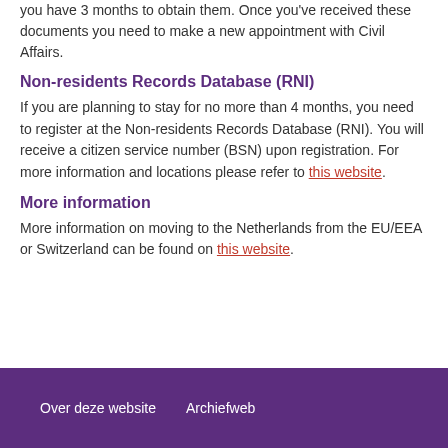you have 3 months to obtain them. Once you've received these documents you need to make a new appointment with Civil Affairs.
Non-residents Records Database (RNI)
If you are planning to stay for no more than 4 months, you need to register at the Non-residents Records Database (RNI). You will receive a citizen service number (BSN) upon registration. For more information and locations please refer to this website.
More information
More information on moving to the Netherlands from the EU/EEA or Switzerland can be found on this website.
Over deze website   Archiefweb